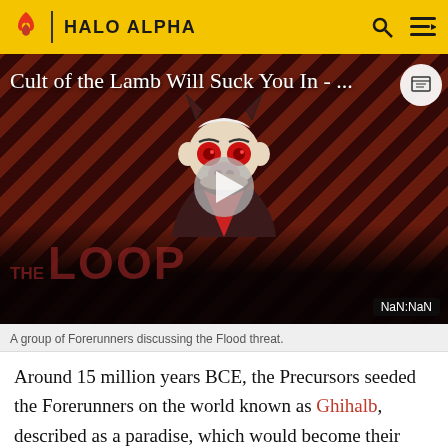HALO ALPHA
[Figure (screenshot): Video thumbnail for 'Cult of the Lamb Will Suck You In - ...' with THE LOOP branding, a play button in center, cartoon character with red eyes on a dark red diagonal stripe background. Bottom right shows 'NaN:NaN' timestamp badge.]
A group of Forerunners discussing the Flood threat.
Around 15 million years BCE, the Precursors seeded the Forerunners on the world known as Ghihalb, described as a paradise, which would become their nascent homeworld. However, after the Forerunners' early